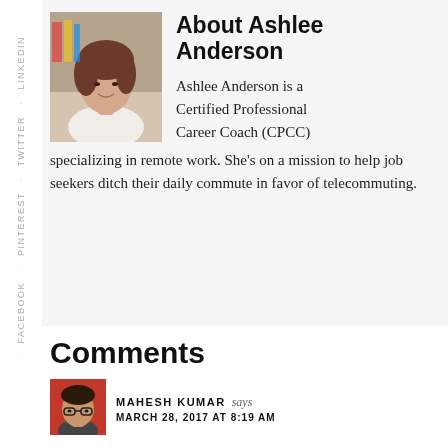About Ashlee Anderson
[Figure (photo): Portrait photo of Ashlee Anderson, a woman with brown hair]
Ashlee Anderson is a Certified Professional Career Coach (CPCC) specializing in remote work. She's on a mission to help job seekers ditch their daily commute in favor of telecommuting.
Comments
[Figure (photo): Avatar photo of Mahesh Kumar, a man with glasses]
MAHESH KUMAR says
MARCH 28, 2017 AT 8:19 AM
You've nailed it, Ashlee. These are really some of the great points that one should keep in mind while